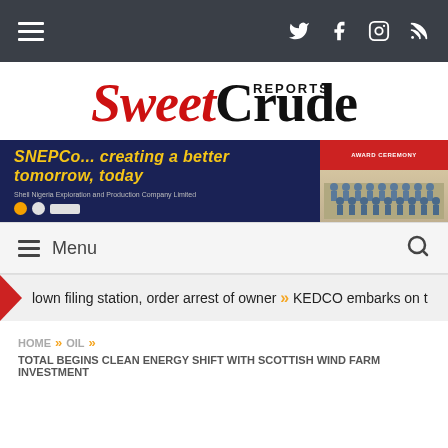Navigation bar with hamburger menu and social icons (Twitter, Facebook, Instagram, RSS)
[Figure (logo): SweetCrude Reports logo - 'Sweet' in red italic serif, 'Crude' in black serif, 'REPORTS' in small black caps above]
[Figure (infographic): SNEPCo advertisement banner with tagline 'SNEPCo... creating a better tomorrow, today' on dark blue background with image of schoolchildren on right side]
Menu
lown filing station, order arrest of owner » KEDCO embarks on t
HOME » OIL » TOTAL BEGINS CLEAN ENERGY SHIFT WITH SCOTTISH WIND FARM INVESTMENT